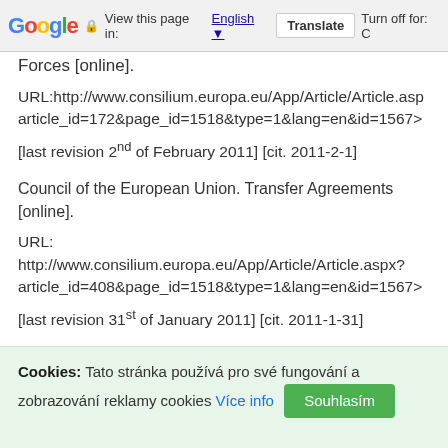Google Translate bar — View this page in: English | Translate | Turn off for: C
Forces [online].
URL:http://www.consilium.europa.eu/App/Article/Article.aspx?article_id=172&page_id=1518&type=1&lang=en&id=1567>
[last revision 2nd of February 2011] [cit. 2011-2-1]
Council of the European Union. Transfer Agreements [online].
URL:
http://www.consilium.europa.eu/App/Article/Article.aspx?article_id=408&page_id=1518&type=1&lang=en&id=1567>
[last revision 31st of January 2011] [cit. 2011-1-31]
Cookies: Tato stránka používá pro své fungování a zobrazování reklamy cookies Více info Souhlasím